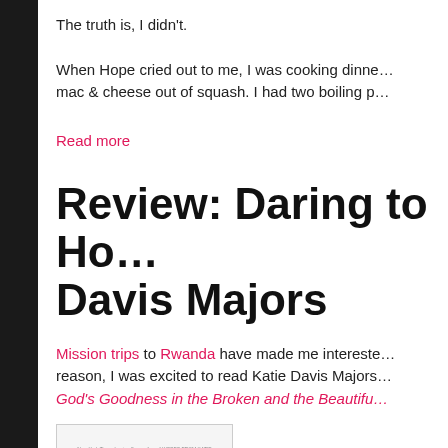The truth is, I didn't.
When Hope cried out to me, I was cooking dinne… mac & cheese out of squash. I had two boiling p…
Read more
Review: Daring to Ho… Davis Majors
Mission trips to Rwanda have made me intereste… reason, I was excited to read Katie Davis Majors… God's Goodness in the Broken and the Beautifu…
[Figure (photo): Book cover image showing Katie Davis Majors book]